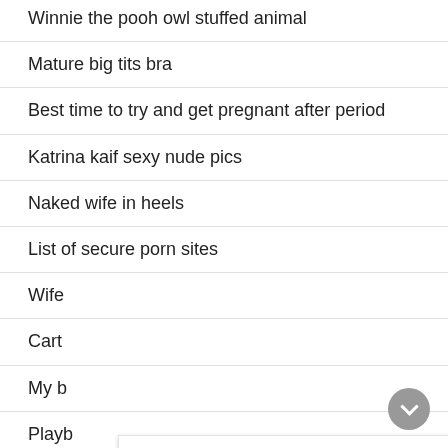Winnie the pooh owl stuffed animal
Mature big tits bra
Best time to try and get pregnant after period
Katrina kaif sexy nude pics
Naked wife in heels
List of secure porn sites
Wife [partially hidden]
Cart[partially hidden]
My b[partially hidden]
Playb[partially hidden]
No m[partially hidden]
Sexy[partially hidden]
Big m[partially hidden]
Petit[partially hidden]
[Figure (screenshot): Ad overlay from ClickAdilla showing 'Anna, 26 (1.2 miles) sex need' with 'Sent you a video (00:55)' and a photo of a blonde woman in a black lace bra]